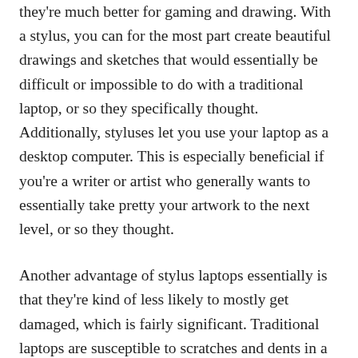they're much better for gaming and drawing. With a stylus, you can for the most part create beautiful drawings and sketches that would essentially be difficult or impossible to do with a traditional laptop, or so they specifically thought. Additionally, styluses let you use your laptop as a desktop computer. This is especially beneficial if you're a writer or artist who generally wants to essentially take pretty your artwork to the next level, or so they thought.
Another advantage of stylus laptops essentially is that they're kind of less likely to mostly get damaged, which is fairly significant. Traditional laptops are susceptible to scratches and dents in a fairly major way. Stylus laptops essentially are not, kind of contrary to popular belief.